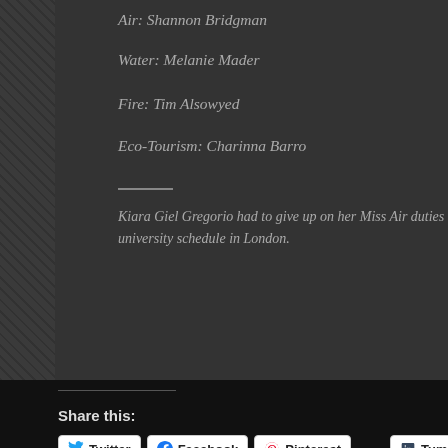Air: Shannon Bridgman
Water: Melanie Mader
Fire: Tim Alsowyed
Eco-Tourism: Charinna Barro
Kiara Giel Gregorio had to give up on her Miss Air duties in fa... university schedule in London.
Share this:
Twitter  Facebook  Pinterest  Tumblr  Email
Loading...
Advertisements
Create surveys, polls, quizzes, and forms.